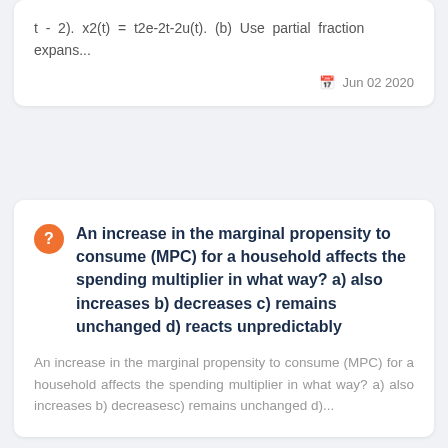t - 2). x2(t) = t2e-2t-2u(t). (b) Use partial fraction expans...
Jun 02 2020
An increase in the marginal propensity to consume (MPC) for a household affects the spending multiplier in what way? a) also increases b) decreases c) remains unchanged d) reacts unpredictably
An increase in the marginal propensity to consume (MPC) for a household affects the spending multiplier in what way? a) also increases b) decreasesc) remains unchanged d)...